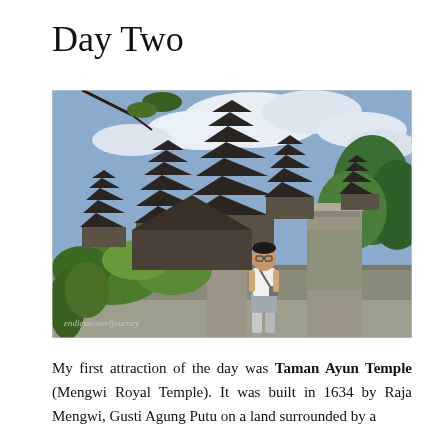Day Two
[Figure (photo): A person standing in front of Taman Ayun Temple (Mengwi Royal Temple) in Bali, Indonesia. The temple features multiple tiered meru towers (pagoda-style roofs) rising against a cloudy sky, with lush green tropical vegetation. Stone walls and gate pillars are visible. A watermark reads 'endlesstraveljourney' in the lower left corner.]
My first attraction of the day was Taman Ayun Temple (Mengwi Royal Temple). It was built in 1634 by Raja Mengwi, Gusti Agung Putu on a land surrounded by a